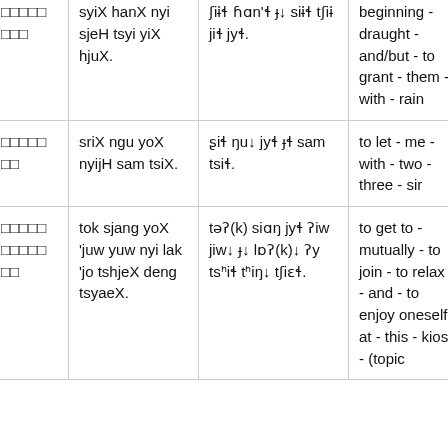| □□□□□□□ | syiX hanX nyi sjeH tsyi yiX hjuX. | ʃiɨɬ ɦɑn'ɬ ɹɹ siɨɬ tʃiɨ jiɬ jyɬ. | beginning - draught - and/but - to grant - them - with - rain | an the de dra be |
| □□□□□□□ | sriX ngu yoX nyijH sam tsiX. | ʂiɬ ŋuɹ jyɬ ɹɬ sam tsiɬ. | to let - me - with - two - three - sir | ma us |
| □□□□□□□□□□ | tok sjang yoX 'juw yuw nyi lak 'jo tshjeX deng tsyaeX. | təʔ(k) siɑŋ jyɬ ʔiw jwɹ ɹɹ lɒʔ(k)ɹ ʔy tsʰiɬ tʰiŋɹ tʃiɛɬ. | to get to - mutually - to join - to relax - - and - to enjoy oneself - at - this - kiosk - (topic | po rej lei kio |